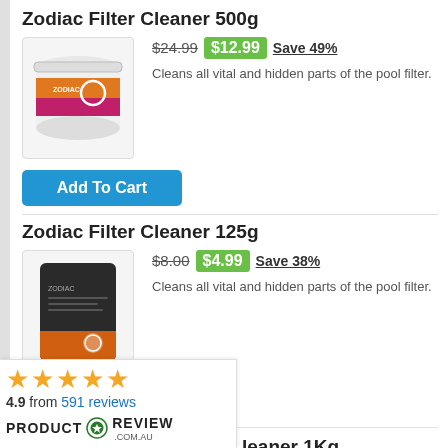Zodiac Filter Cleaner 500g
$24.99  $12.99  Save 49%
Cleans all vital and hidden parts of the pool filter.
[Figure (photo): Product photo of Zodiac Filter Cleaner 500g tub]
Add To Cart
Zodiac Filter Cleaner 125g
$8.00  $4.99  Save 38%
Cleans all vital and hidden parts of the pool filter.
[Figure (photo): Product photo of Zodiac Filter Cleaner 125g bag]
Add To Cart
4.9 from 591 reviews
[Figure (logo): Product Review logo with star rating widget showing 4.9 from 591 reviews]
leaner 1Kg
$34.99  $19.99  Save 43%